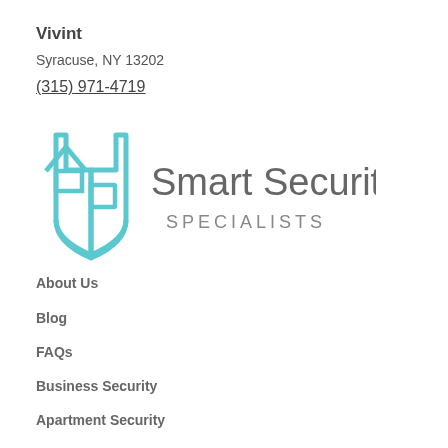Vivint
Syracuse, NY 13202
(315) 971-4719
[Figure (logo): Smart Security Specialists logo with teal house/shield icon and grey text]
About Us
Blog
FAQs
Business Security
Apartment Security